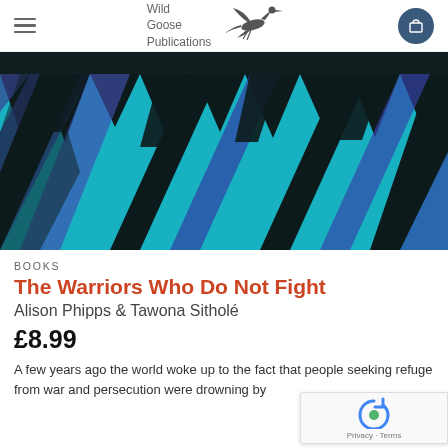Wild Goose Publications
[Figure (photo): Abstract textile pattern with zigzag shapes in teal, blue-purple, and black colors — the book cover image for 'The Warriors Who Do Not Fight']
BOOKS
The Warriors Who Do Not Fight
Alison Phipps & Tawona Sitholé
£8.99
A few years ago the world woke up to the fact that people seeking refuge from war and persecution were drowning by